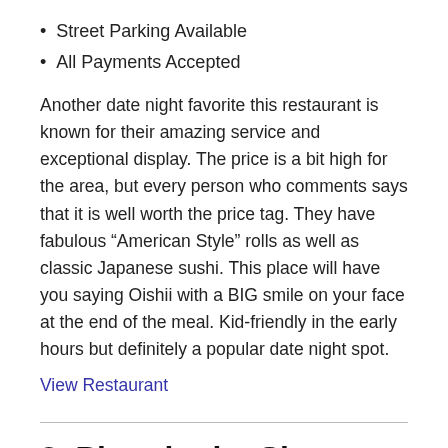Street Parking Available
All Payments Accepted
Another date night favorite this restaurant is known for their amazing service and exceptional display. The price is a bit high for the area, but every person who comments says that it is well worth the price tag. They have fabulous “American Style” rolls as well as classic Japanese sushi. This place will have you saying Oishii with a BIG smile on your face at the end of the meal. Kid-friendly in the early hours but definitely a popular date night spot.
View Restaurant
8. Pizza in the Sky